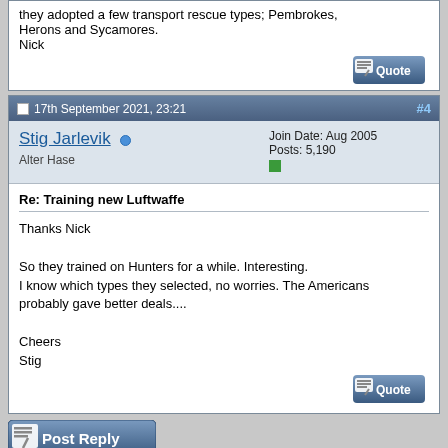they adopted a few transport rescue types; Pembrokes, Herons and Sycamores.
Nick
17th September 2021, 23:21
#4
Stig Jarlevik
Alter Hase
Join Date: Aug 2005
Posts: 5,190
Re: Training new Luftwaffe
Thanks Nick

So they trained on Hunters for a while. Interesting.
I know which types they selected, no worries. The Americans probably gave better deals....

Cheers
Stig
[Figure (screenshot): Post Reply button]
« Previous Thread | Next Thread »
Posting Rules